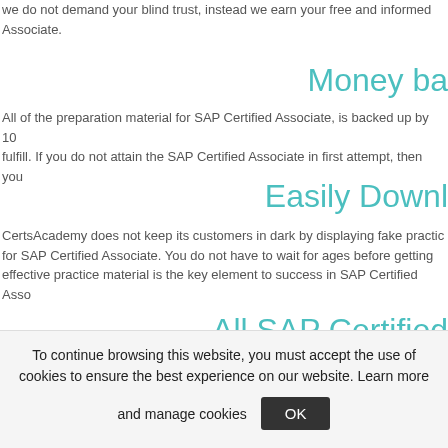we do not demand your blind trust, instead we earn your free and informed ... Associate.
Money ba
All of the preparation material for SAP Certified Associate, is backed up by 10 ... fulfill. If you do not attain the SAP Certified Associate in first attempt, then you ...
Easily Downl
CertsAcademy does not keep its customers in dark by displaying fake practic... for SAP Certified Associate. You do not have to wait for ages before getting... effective practice material is the key element to success in SAP Certified Asso...
All SAP Certified
|  | SAP Certified Associate - Transactional Banking in |
| --- | --- |
|  |  |
To continue browsing this website, you must accept the use of cookies to ensure the best experience on our website. Learn more and manage cookies